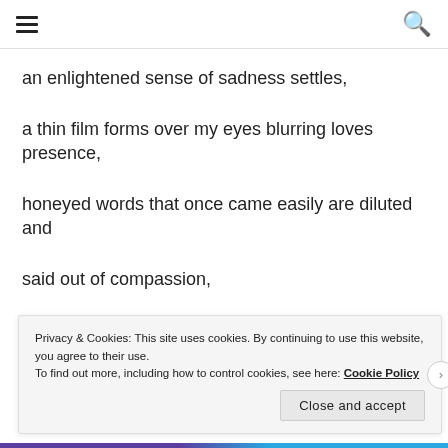[hamburger menu] [search icon]
an enlightened sense of sadness settles,
a thin film forms over my eyes blurring loves presence,
honeyed words that once came easily are diluted and
said out of compassion,
Privacy & Cookies: This site uses cookies. By continuing to use this website, you agree to their use. To find out more, including how to control cookies, see here: Cookie Policy
Close and accept